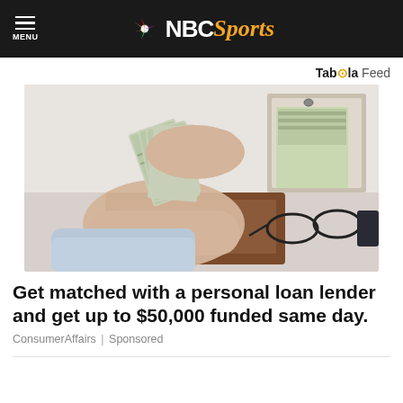NBC Sports
Taboola Feed
[Figure (photo): Person handing a fan of US dollar bills to another person, with a binder of cash and glasses on a desk in the background.]
Get matched with a personal loan lender and get up to $50,000 funded same day.
ConsumerAffairs | Sponsored